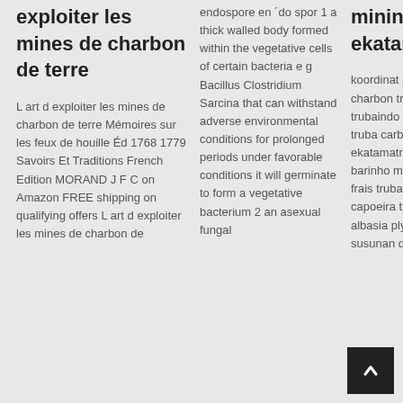exploiter les mines de charbon de terre
L art d exploiter les mines de charbon de terre Mémoires sur les feux de houille Éd 1768 1779 Savoirs Et Traditions French Edition MORAND J F C on Amazon FREE shipping on qualifying offers L art d exploiter les mines de charbon de terre Mémoi...
endospore en ´do spor 1 a thick walled body formed within the vegetative cells of certain bacteria e g Bacillus Clostridium Sarcina that can withstand adverse environmental conditions for prolonged periods under favorable conditions it will germinate to form a vegetative bacterium 2 an asexual fungal
mining barinho ekatama
koordinat pt mines de charbon trubaindo email pt trubaindo coal mining melak truba carbon barinho minera ekatamatruba carbon barinho minera ekatama pt frais trubaindo miniere capoeira trutnov pt bbp albasia plywood mill wmv susunan direksi pt